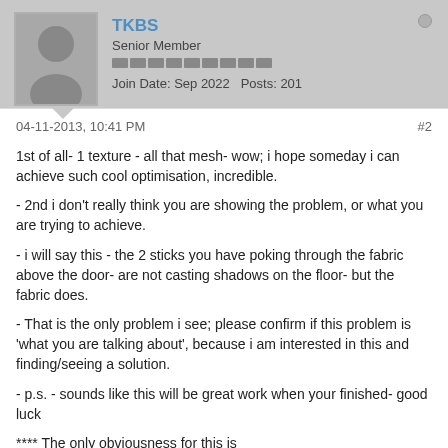TKBS | Senior Member | Join Date: Sep 2022 | Posts: 201
04-11-2013, 10:41 PM  #2
1st of all- 1 texture - all that mesh- wow; i hope someday i can achieve such cool optimisation, incredible.

- 2nd i don't really think you are showing the problem, or what you are trying to achieve.

- i will say this - the 2 sticks you have poking through the fabric above the door- are not casting shadows on the floor- but the fabric does.

- That is the only problem i see; please confirm if this problem is 'what you are talking about', because i am interested in this and finding/seeing a solution.

- p.s. - sounds like this will be great work when your finished- good luck


**** The only obviousness for this is
a) You have a lightmap resolution set to default
b) you have not set F4 > Properties > Override lightmap-- to false

- OR/// &///